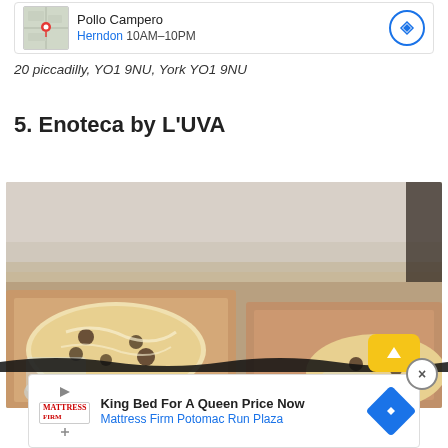[Figure (screenshot): Map thumbnail with red location pin for Pollo Campero]
Pollo Campero
Herndon 10AM–10PM
20 piccadilly, YO1 9NU, York YO1 9NU
5. Enoteca by L'UVA
[Figure (photo): Photo of pizza in cardboard takeout boxes with glasses on a wooden table]
King Bed For A Queen Price Now
Mattress Firm Potomac Run Plaza